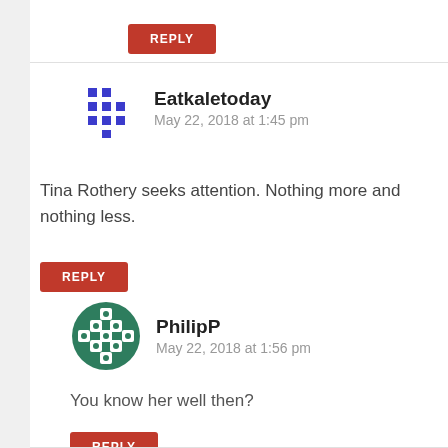REPLY
Eatkaletoday
May 22, 2018 at 1:45 pm
Tina Rothery seeks attention. Nothing more and nothing less.
REPLY
PhilipP
May 22, 2018 at 1:56 pm
You know her well then?
REPLY